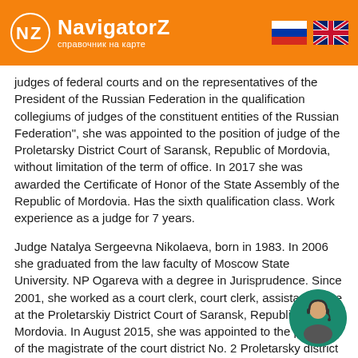NavigatorZ — справочник на карте
judges of federal courts and on the representatives of the President of the Russian Federation in the qualification collegiums of judges of the constituent entities of the Russian Federation", she was appointed to the position of judge of the Proletarsky District Court of Saransk, Republic of Mordovia, without limitation of the term of office. In 2017 she was awarded the Certificate of Honor of the State Assembly of the Republic of Mordovia. Has the sixth qualification class. Work experience as a judge for 7 years.
Judge Natalya Sergeevna Nikolaeva, born in 1983. In 2006 she graduated from the law faculty of Moscow State University. NP Ogareva with a degree in Jurisprudence. Since 2001, she worked as a court clerk, court clerk, assistant judge at the Proletarskiy District Court of Saransk, Republic of Mordovia. In August 2015, she was appointed to the position of the magistrate of the court district No. 2 Proletarsky district of the city of Saransk, the Republic of Mordovia. By the Decree of the President of the Russian Federation of June 9, 2017 No. 255 "On the appointment of